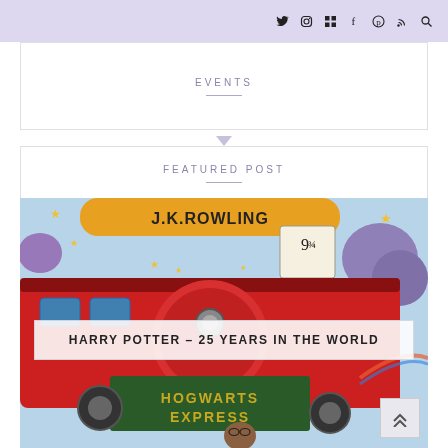Social media icons: Twitter, Instagram, Blog, Facebook, Pinterest, RSS, Search
EVENTS
FEATURED POST
[Figure (illustration): Harry Potter and the Philosopher's Stone book cover illustration by J.K. Rowling showing the Hogwarts Express train at Platform 9¾ with stars, purple trees, and a boy with glasses]
HARRY POTTER – 25 YEARS IN THE WORLD